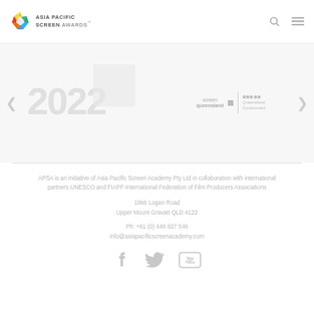ASIA PACIFIC SCREEN AWARDS
[Figure (screenshot): Carousel image area with year 2022 faded text, Screen Queensland and Queensland Government sponsor logos, with left and right navigation arrows]
APSA is an initiative of Asia Pacific Screen Academy Pty Ltd in collaboration with international partners UNESCO and FIAPF-International Federation of Film Producers Associations
1866 Logan Road
Upper Mount Gravatt QLD 4122
Ph: +61 (0) 448 827 546
info@asiapacificscreenacademy.com
[Figure (illustration): Social media icons: Facebook, Twitter, YouTube in grey]